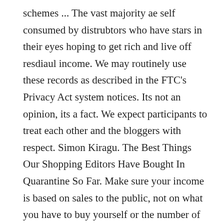schemes ... The vast majority ae self consumed by distrubtors who have stars in their eyes hoping to get rich and live off resdiaul income. We may routinely use these records as described in the FTC's Privacy Act system notices. Its not an opinion, its a fact. We expect participants to treat each other and the bloggers with respect. Simon Kiragu. The Best Things Our Shopping Editors Have Bought In Quarantine So Far. Make sure your income is based on sales to the public, not on what you have to buy yourself or the number of people you recruit. Also, do not use this blog to report fraud; instead, file a complaint. Which is small minded small business get something for nothing get results quick type mindset. Growing your business should be the only stressful part of a company NOT GETTING PRODUCTS! They promise to give you money if you recruit people into the company. Dont forget the yearly membership dues of 100+. How to spot a pyramid scheme. How to Spot a Pyramid Scheme? It's actually not. The recruitment pitch says you'll be living in the lap of luxury. Well